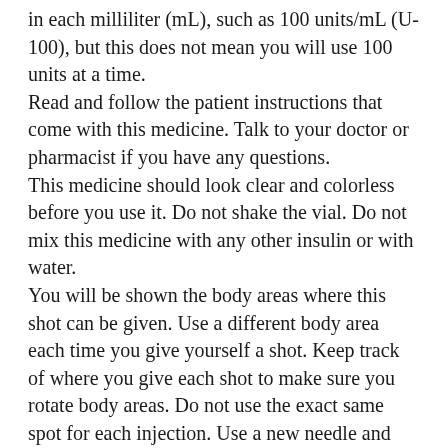in each milliliter (mL), such as 100 units/mL (U-100), but this does not mean you will use 100 units at a time.
Read and follow the patient instructions that come with this medicine. Talk to your doctor or pharmacist if you have any questions.
This medicine should look clear and colorless before you use it. Do not shake the vial. Do not mix this medicine with any other insulin or with water.
You will be shown the body areas where this shot can be given. Use a different body area each time you give yourself a shot. Keep track of where you give each shot to make sure you rotate body areas. Do not use the exact same spot for each injection. Use a new needle and syringe each time you inject your medicine. If you use a syringe, use only the kind that is made for insulin injections. Some insulins must be given with a specific type of syringe or needle. Ask your pharmacist if you are not sure which one to use.
Always check the label before use, to make sure